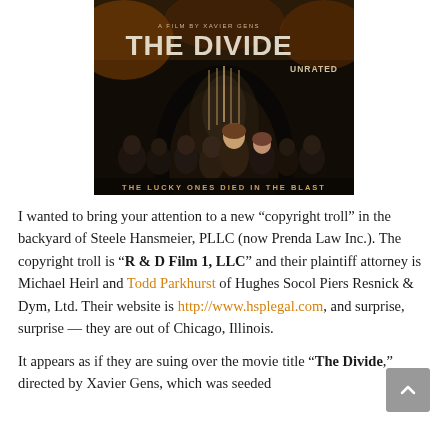[Figure (photo): Movie poster for 'The Divide' (Unrated) showing group of actors in a dark tunnel setting with text 'THE LUCKY ONES DIED IN THE BLAST']
I wanted to bring your attention to a new “copyright troll” in the backyard of Steele Hansmeier, PLLC (now Prenda Law Inc.). The copyright troll is “R & D Film 1, LLC” and their plaintiff attorney is Michael Heirl and Todd Parkhurst of Hughes Socol Piers Resnick & Dym, Ltd. Their website is http://www.hsplegal.com, and surprise, surprise — they are out of Chicago, Illinois.
It appears as if they are suing over the movie title “The Divide,” directed by Xavier Gens, which was seeded